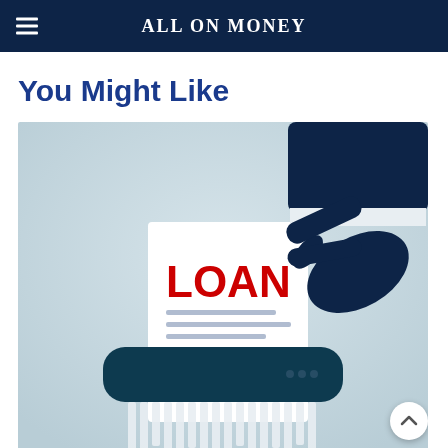ALL ON MONEY
You Might Like
[Figure (illustration): Illustration of a dark-navy gloved hand feeding a paper labeled LOAN in large red bold text into a paper shredder. The paper has placeholder lines beneath the LOAN heading. The shredder is dark navy/teal colored with shredded paper strips coming out the bottom. Background is a soft light blue-grey gradient.]